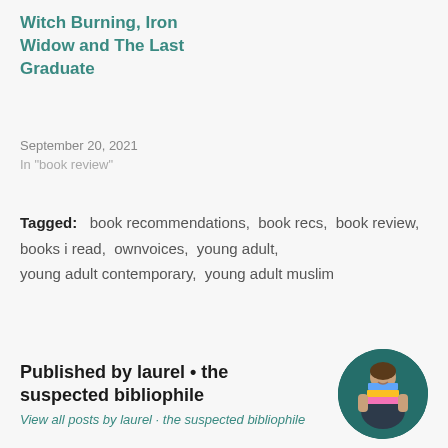Witch Burning, Iron Widow and The Last Graduate
September 20, 2021
In "book review"
Tagged:   book recommendations,  book recs,  book review,  books i read,  ownvoices,  young adult,  young adult contemporary,  young adult muslim
Published by laurel • the suspected bibliophile
View all posts by laurel · the suspected bibliophile
[Figure (photo): Circular avatar photo of a person holding a stack of books in front of a teal background]